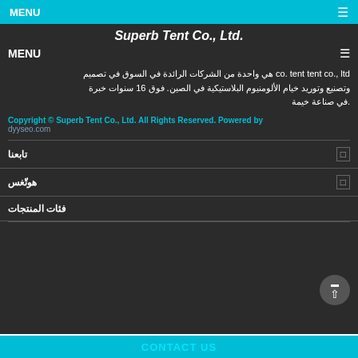MENU ☰
Superb Tent Co., Ltd.
MENU ☰
co. tent tent co., ltd هي واحدة من الشركات الرائدة في السوق في تصميم وتصنيع وتوريد خيام الألومنيوم البلاستيكية في الصين. فوق 16 سنوات خبرة. في صناعة خيمة
Copyright © Superb Tent Co., Ltd. All Rights Reserved. Powered by dyyseo.com
تابعنا
هوتّغس
فئات المنتجات
CONTACT US